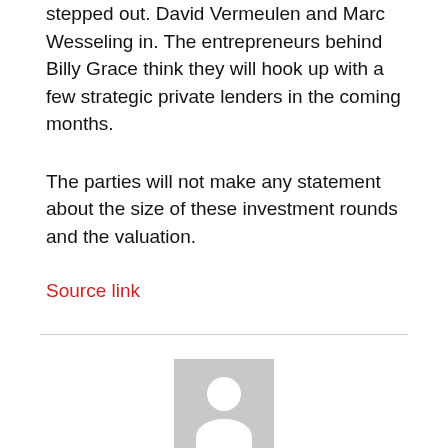stepped out. David Vermeulen and Marc Wesseling in. The entrepreneurs behind Billy Grace think they will hook up with a few strategic private lenders in the coming months.
The parties will not make any statement about the size of these investment rounds and the valuation.
Source link
[Figure (illustration): Generic user avatar placeholder image — grey rectangle with white silhouette of a person (circle head and rounded shoulders)]